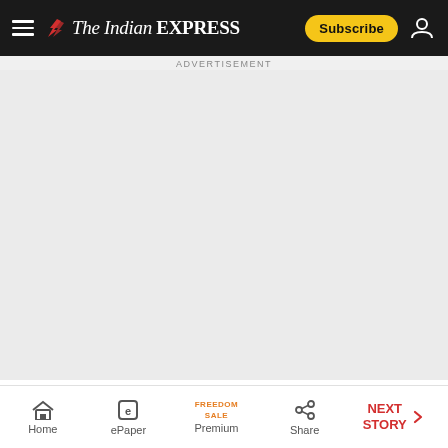The Indian EXPRESS
[Figure (other): Advertisement banner area (gray placeholder)]
Tyagi said the JD(U) national executive, at a
Home | ePaper | Premium (FREEDOM SALE) | Share | NEXT STORY